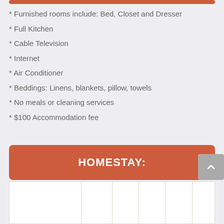* Furnished rooms include: Bed, Closet and Dresser
* Full Kitchen
* Cable Television
* Internet
* Air Conditioner
* Beddings: Linens, blankets, pillow, towels
* No meals or cleaning services
* $100 Accommodation fee
HOMESTAY:
|  |  |  |  |  |